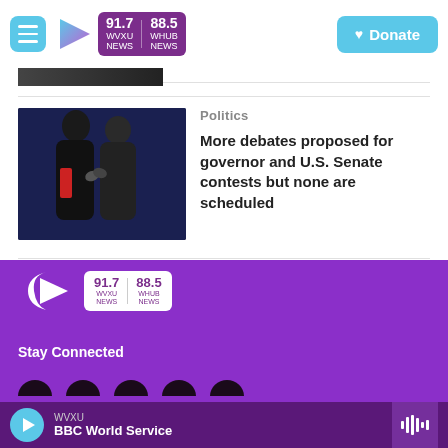91.7 WVXU NEWS | 88.5 WHUB NEWS — Donate
[Figure (photo): Two men in suits shaking hands on a dark stage — political debate scene]
Politics
More debates proposed for governor and U.S. Senate contests but none are scheduled
[Figure (logo): WVXU 91.7 NEWS / 88.5 WHUB NEWS logo in footer on purple background]
Stay Connected
WVXU — BBC World Service